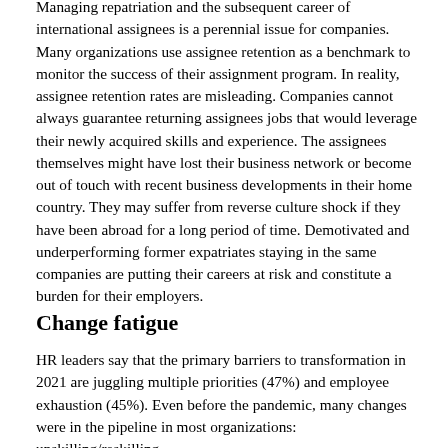Managing repatriation and the subsequent career of international assignees is a perennial issue for companies. Many organizations use assignee retention as a benchmark to monitor the success of their assignment program. In reality, assignee retention rates are misleading. Companies cannot always guarantee returning assignees jobs that would leverage their newly acquired skills and experience. The assignees themselves might have lost their business network or become out of touch with recent business developments in their home country. They may suffer from reverse culture shock if they have been abroad for a long period of time. Demotivated and underperforming former expatriates staying in the same companies are putting their careers at risk and constitute a burden for their employers.
Change fatigue
HR leaders say that the primary barriers to transformation in 2021 are juggling multiple priorities (47%) and employee exhaustion (45%). Even before the pandemic, many changes were in the pipeline in most organizations: upskilling/reskilling